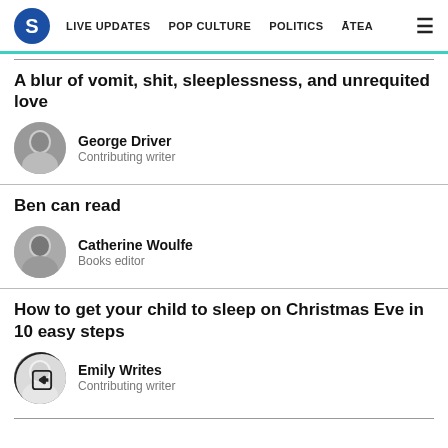S  LIVE UPDATES  POP CULTURE  POLITICS  ĀTEA
A blur of vomit, shit, sleeplessness, and unrequited love
George Driver
Contributing writer
Ben can read
Catherine Woulfe
Books editor
How to get your child to sleep on Christmas Eve in 10 easy steps
Emily Writes
Contributing writer